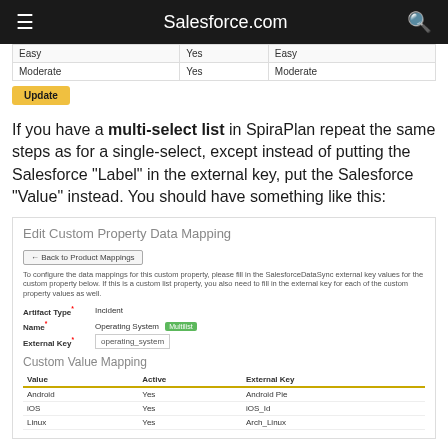Salesforce.com
|  |  |  |
| --- | --- | --- |
| Easy | Yes | Easy |
| Moderate | Yes | Moderate |
Update
If you have a multi-select list in SpiraPlan repeat the same steps as for a single-select, except instead of putting the Salesforce "Label" in the external key, put the Salesforce "Value" instead. You should have something like this:
[Figure (screenshot): Edit Custom Property Data Mapping form showing fields: Artifact Type = Incident, Name = Operating System (highlighted green), External Key = operating_system. Below is a Custom Value Mapping table with columns Value, Active, External Key and rows: Android/Yes/Android Pie, iOS/Yes/iOS_Id, Linux/Yes/Arch_Linux]